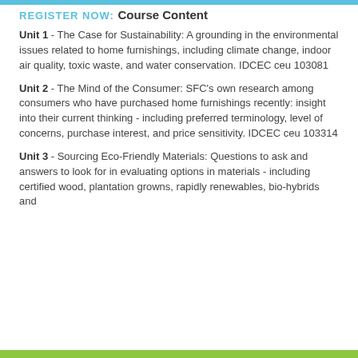REGISTER NOW:
Course Content
Unit 1 - The Case for Sustainability: A grounding in the environmental issues related to home furnishings, including climate change, indoor air quality, toxic waste, and water conservation. IDCEC ceu 103081
Unit 2 - The Mind of the Consumer: SFC's own research among consumers who have purchased home furnishings recently: insight into their current thinking - including preferred terminology, level of concerns, purchase interest, and price sensitivity. IDCEC ceu 103314
Unit 3 - Sourcing Eco-Friendly Materials: Questions to ask and answers to look for in evaluating options in materials - including certified wood, plantation growns, rapidly renewables, bio-hybrids and